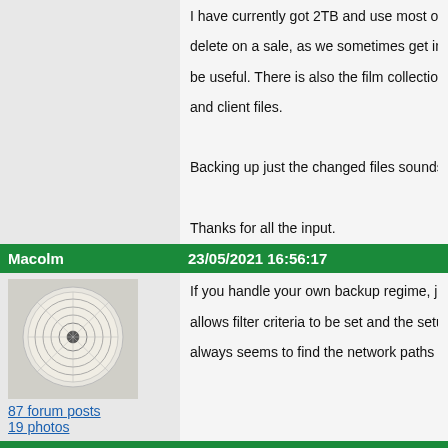I have currently got 2TB and use most of it. I'm an estate agent, delete on a sale, as we sometimes get instructions on the same be useful. There is also the film collection, the music collection and client files.

Backing up just the changed files sounds right. Backing up ever

Thanks for all the input.
Macolm  23/05/2021 16:56:17
87 forum posts
19 photos
If you handle your own backup regime, just a recomendation for allows filter criteria to be set and the setups saved, very quick, a always seems to find the network paths OK even when Window
Ady1  23/05/2021 17:12:05
5182 forum posts
738 photos
HDDs are not all created equal, I've never had a failure so far ap

I always buy a Western Digital and I always buy it from somewh internet

Any might-have-an-issue drives tend to go to the smaller ebay t parts of the production runs tend to go to pay-fulll-whack busine

Don't look for a bargain

It's a bit like with microchips, the best part of the wafer was useo were for business users